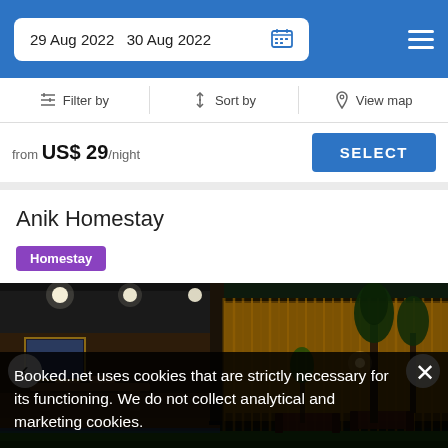29 Aug 2022  30 Aug 2022
Filter by  Sort by  View map
from US$ 29/night  SELECT
Anik Homestay
Homestay
[Figure (photo): Nighttime exterior photo of Anik Homestay showing an open-air lounge area with wooden furniture, potted plants, illuminated bamboo fence in background, and lounge chairs on a green lawn.]
Booked.net uses cookies that are strictly necessary for its functioning. We do not collect analytical and marketing cookies.